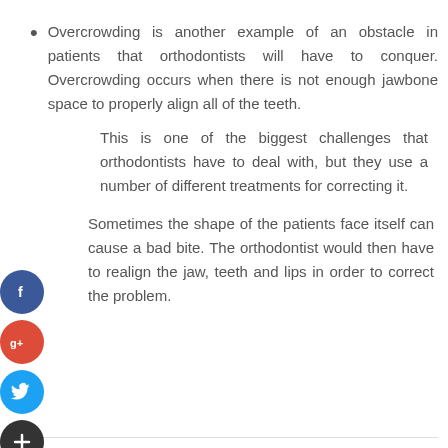Overcrowding is another example of an obstacle in patients that orthodontists will have to conquer. Overcrowding occurs when there is not enough jawbone space to properly align all of the teeth.
This is one of the biggest challenges that orthodontists have to deal with, but they use a number of different treatments for correcting it.
Sometimes the shape of the patients face itself can cause a bad bite. The orthodontist would then have to realign the jaw, teeth and lips in order to correct the problem.
[Figure (other): Social media sharing icons: Facebook (blue circle with f), Google+ (red circle with g+), Twitter (blue circle with bird), and a dark plus/share button]